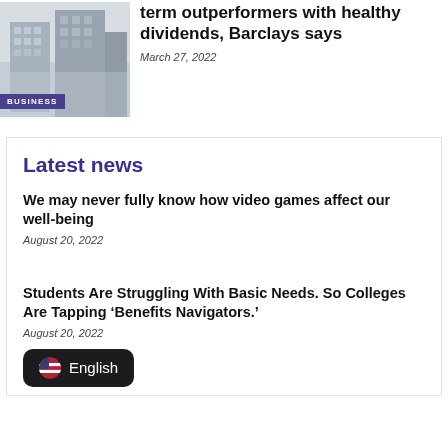[Figure (photo): Photo of skyscrapers/office buildings with BUSINESS tag overlay]
term outperformers with healthy dividends, Barclays says
March 27, 2022
Latest news
We may never fully know how video games affect our well-being
August 20, 2022
Students Are Struggling With Basic Needs. So Colleges Are Tapping ‘Benefits Navigators.’
August 20, 2022
English